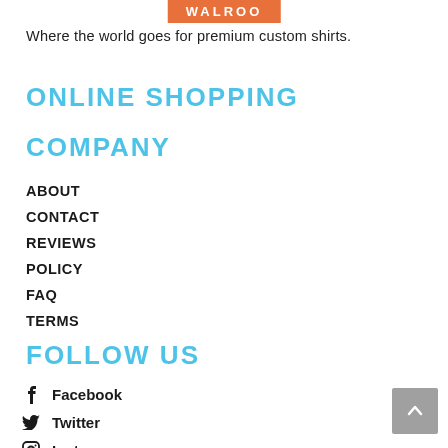[Figure (logo): Orange badge logo with white text 'WALROO']
Where the world goes for premium custom shirts.
ONLINE SHOPPING
COMPANY
ABOUT
CONTACT
REVIEWS
POLICY
FAQ
TERMS
FOLLOW US
Facebook
Twitter
Instagram